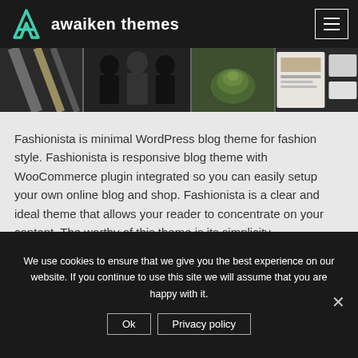awaiken themes
[Figure (photo): A horizontal strip of four fashion/lifestyle thumbnail images: makeup brushes, fashion models in black outfits, a succulent plant, and a magazine/blog screenshot.]
Fashionista is minimal WordPress blog theme for fashion style. Fashionista is responsive blog theme with WooCommerce plugin integrated so you can easily setup your own online blog and shop. Fashionista is a clear and ideal theme that allows your reader to concentrate on your content. The worthy of this theme is its simplicity.
We use cookies to ensure that we give you the best experience on our website. If you continue to use this site we will assume that you are happy with it.
Ok   Privacy policy